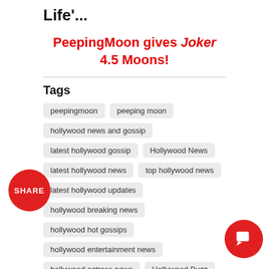Life'...
PeepingMoon gives Joker 4.5 Moons!
Tags
peepingmoon
peeping moon
hollywood news and gossip
latest hollywood gossip
Hollywood News
latest hollywood news
top hollywood news
latest hollywood updates
hollywood breaking news
hollywood hot gossips
hollywood entertainment news
hollywood actress news
Hollywood Buzz
hollywood interviews
hollywood celebrity news
hollywood celebrity gossip
hollywood lifestyle
television news
hollywood television news
Joker
Joker Review
Joaquin Phoenix
Batman
Heath Ledger
The Dark Knight